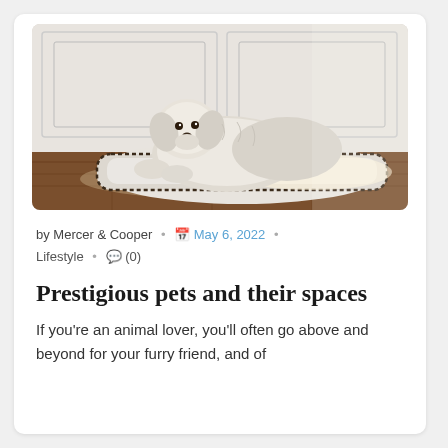[Figure (photo): A fluffy white dog resting on a plush white pet bed cushion on a wooden floor, with white paneled walls in the background. Natural light illuminates the scene.]
by Mercer & Cooper • 🗓 May 6, 2022 • Lifestyle • 💬 (0)
Prestigious pets and their spaces
If you're an animal lover, you'll often go above and beyond for your furry friend, and of